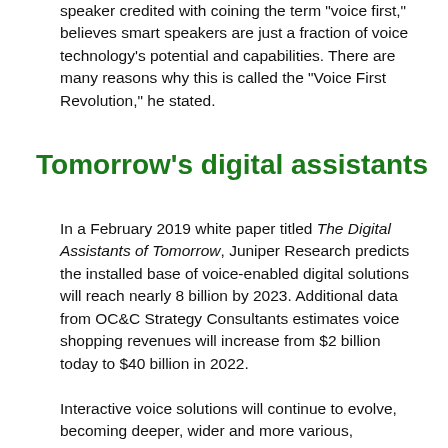speaker credited with coining the term "voice first," believes smart speakers are just a fraction of voice technology's potential and capabilities. There are many reasons why this is called the "Voice First Revolution," he stated.
Tomorrow's digital assistants
In a February 2019 white paper titled The Digital Assistants of Tomorrow, Juniper Research predicts the installed base of voice-enabled digital solutions will reach nearly 8 billion by 2023. Additional data from OC&C Strategy Consultants estimates voice shopping revenues will increase from $2 billion today to $40 billion in 2022.
Interactive voice solutions will continue to evolve, becoming deeper, wider and more various, encompassing a tradition for how distribution...